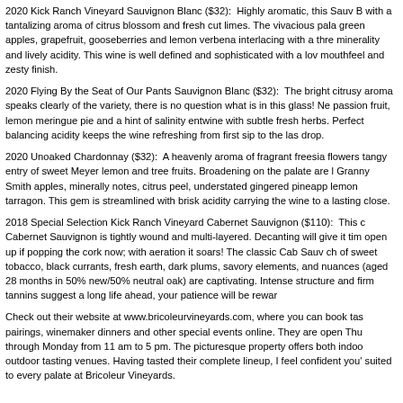2020 Kick Ranch Vineyard Sauvignon Blanc ($32): Highly aromatic, this Sauv B with a tantalizing aroma of citrus blossom and fresh cut limes. The vivacious pala green apples, grapefruit, gooseberries and lemon verbena interlacing with a thre minerality and lively acidity. This wine is well defined and sophisticated with a lov mouthfeel and zesty finish.
2020 Flying By the Seat of Our Pants Sauvignon Blanc ($32): The bright citrusy aroma speaks clearly of the variety, there is no question what is in this glass! Ne passion fruit, lemon meringue pie and a hint of salinity entwine with subtle fresh herbs. Perfect balancing acidity keeps the wine refreshing from first sip to the las drop.
2020 Unoaked Chardonnay ($32): A heavenly aroma of fragrant freesia flowers tangy entry of sweet Meyer lemon and tree fruits. Broadening on the palate are l Granny Smith apples, minerally notes, citrus peel, understated gingered pineapp lemon tarragon. This gem is streamlined with brisk acidity carrying the wine to a lasting close.
2018 Special Selection Kick Ranch Vineyard Cabernet Sauvignon ($110): This c Cabernet Sauvignon is tightly wound and multi-layered. Decanting will give it tim open up if popping the cork now; with aeration it soars! The classic Cab Sauv ch of sweet tobacco, black currants, fresh earth, dark plums, savory elements, and nuances (aged 28 months in 50% new/50% neutral oak) are captivating. Intense structure and firm tannins suggest a long life ahead, your patience will be rewar
Check out their website at www.bricoleurvineyards.com, where you can book tas pairings, winemaker dinners and other special events online. They are open Thu through Monday from 11 am to 5 pm. The picturesque property offers both indoo outdoor tasting venues. Having tasted their complete lineup, I feel confident you' suited to every palate at Bricoleur Vineyards.